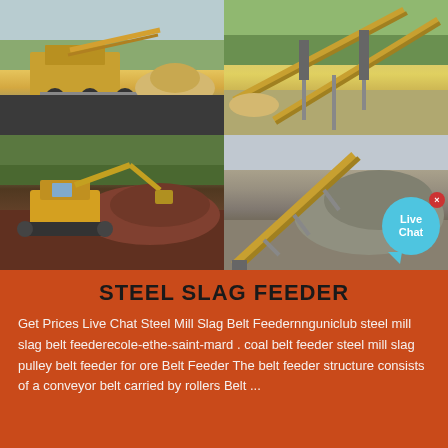[Figure (photo): Four photos of industrial mining and crushing equipment arranged in a 2x2 grid. Top-left: mobile crushing plant on an asphalt surface. Top-right: multiple conveyor belt structures outdoors in a green field. Bottom-left: excavator machine working on a dirt/slag pile. Bottom-right: conveyor belt structure next to a large gravel/aggregate pile, with a Live Chat bubble overlay.]
STEEL SLAG FEEDER
Get Prices Live Chat Steel Mill Slag Belt Feedernnguniclub steel mill slag belt feederecole-ethe-saint-mard . coal belt feeder steel mill slag pulley belt feeder for ore Belt Feeder The belt feeder structure consists of a conveyor belt carried by rollers Belt ...